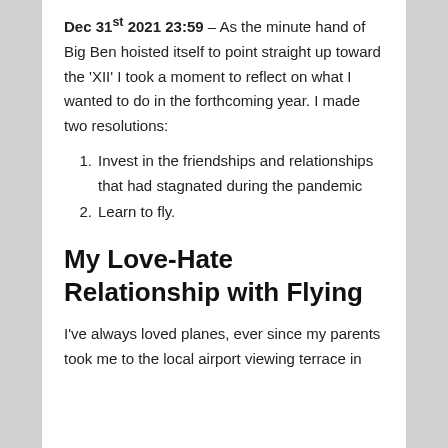Dec 31st 2021 23:59 – As the minute hand of Big Ben hoisted itself to point straight up toward the 'XII' I took a moment to reflect on what I wanted to do in the forthcoming year. I made two resolutions:
Invest in the friendships and relationships that had stagnated during the pandemic
Learn to fly.
My Love-Hate Relationship with Flying
I've always loved planes, ever since my parents took me to the local airport viewing terrace in